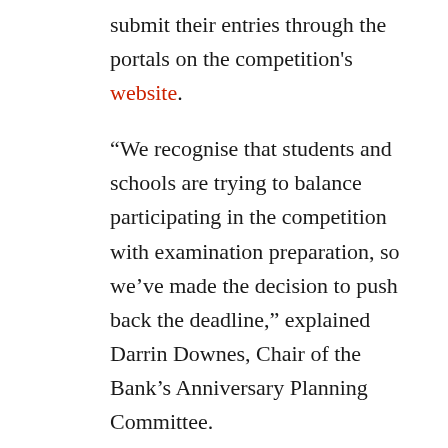submit their entries through the portals on the competition's website.
“We recognise that students and schools are trying to balance participating in the competition with examination preparation, so we’ve made the decision to push back the deadline,” explained Darrin Downes, Chair of the Bank’s Anniversary Planning Committee.
“We want all schools and eligible students across Barbados to be able to take full advantage of the opportunities presented by the competition, which not only allows students to learn more about the Bank while at the same time honing their writing skills, but also gives them and their schools to win